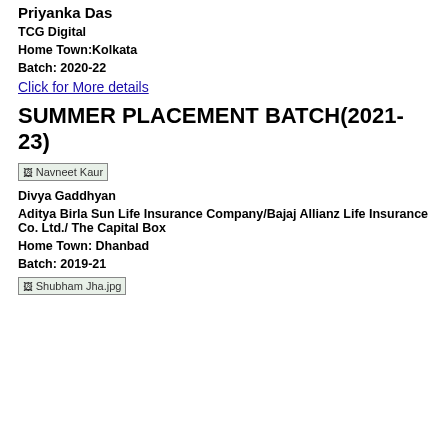Priyanka Das
TCG Digital
Home Town: Kolkata
Batch: 2020-22
Click for More details
SUMMER PLACEMENT BATCH(2021-23)
[Figure (photo): Photo of Navneet Kaur]
Divya Gaddhyan
Aditya Birla Sun Life Insurance Company/Bajaj Allianz Life Insurance Co. Ltd./ The Capital Box
Home Town: Dhanbad
Batch: 2019-21
[Figure (photo): Photo of Shubham Jha]